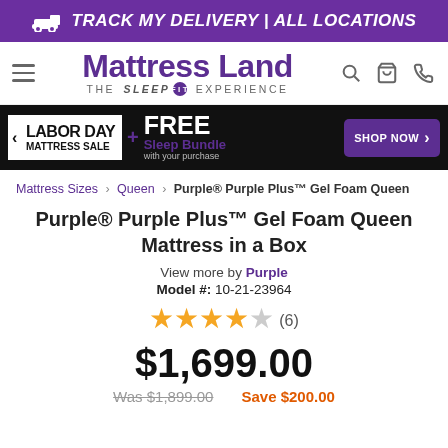TRACK MY DELIVERY | ALL LOCATIONS
[Figure (logo): Mattress Land logo — THE sleep FIT EXPERIENCE — with hamburger menu, search, cart, phone icons]
[Figure (infographic): Labor Day Mattress Sale banner with FREE Sleep Bundle with your purchase and SHOP NOW button]
Mattress Sizes › Queen › Purple® Purple Plus™ Gel Foam Queen
Purple® Purple Plus™ Gel Foam Queen Mattress in a Box
View more by Purple
Model #: 10-21-23964
★★★★☆ (6)
$1,699.00
Was $1,899.00   Save $200.00